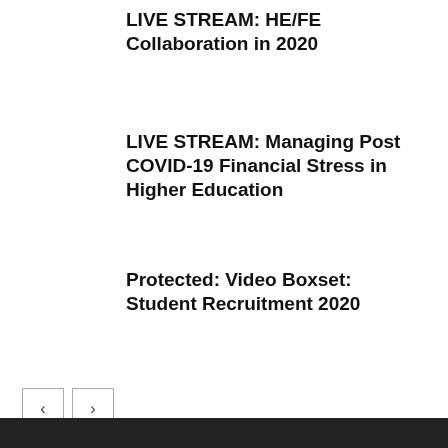LIVE STREAM: HE/FE Collaboration in 2020
LIVE STREAM: Managing Post COVID-19 Financial Stress in Higher Education
Protected: Video Boxset: Student Recruitment 2020